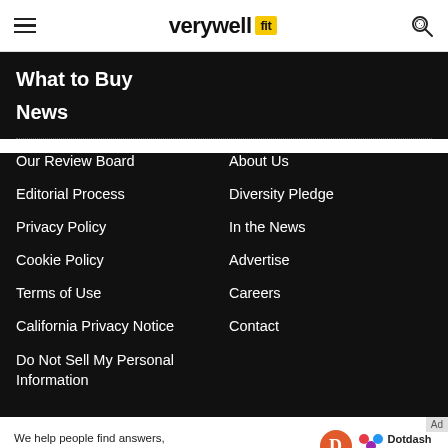verywell fit
What to Buy
News
Our Review Board
About Us
Editorial Process
Diversity Pledge
Privacy Policy
In the News
Cookie Policy
Advertise
Terms of Use
Careers
California Privacy Notice
Contact
Do Not Sell My Personal Information
We help people find answers, solve problems and get inspired.
[Figure (logo): Dotdash Meredith logo with D circle and colorful dots]
Ad